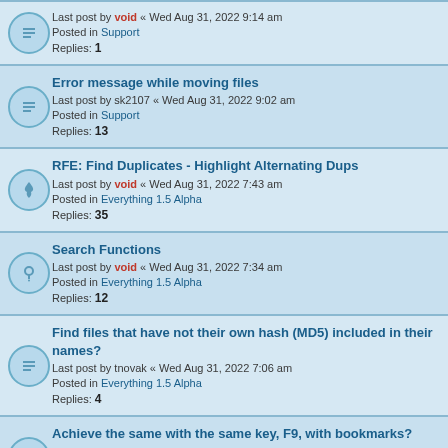Last post by void « Wed Aug 31, 2022 9:14 am
Posted in Support
Replies: 1
Error message while moving files
Last post by sk2107 « Wed Aug 31, 2022 9:02 am
Posted in Support
Replies: 13
RFE: Find Duplicates - Highlight Alternating Dups
Last post by void « Wed Aug 31, 2022 7:43 am
Posted in Everything 1.5 Alpha
Replies: 35
Search Functions
Last post by void « Wed Aug 31, 2022 7:34 am
Posted in Everything 1.5 Alpha
Replies: 12
Find files that have not their own hash (MD5) included in their names?
Last post by tnovak « Wed Aug 31, 2022 7:06 am
Posted in Everything 1.5 Alpha
Replies: 4
Achieve the same with the same key, F9, with bookmarks?
Last post by Biff « Wed Aug 31, 2022 6:56 am
Posted in Everything 1.5 Alpha
Replies: 13
USB Stick replaced with another one?
Last post by Biff « Wed Aug 31, 2022 6:46 am
Posted in Everything 1.5 Alpha
Replies: 13
Strange bug with search bar edit responsiveness
Last post by void « Wed Aug 31, 2022 6:43 am